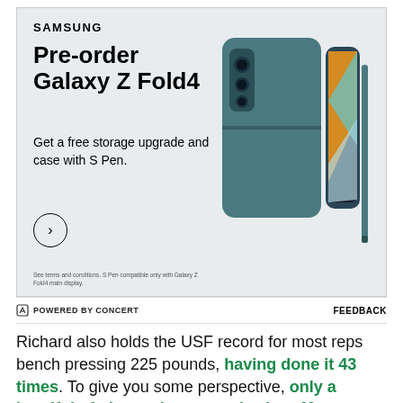[Figure (advertisement): Samsung Galaxy Z Fold4 pre-order advertisement. Shows Samsung logo, headline 'Pre-order Galaxy Z Fold4', subtext 'Get a free storage upgrade and case with S Pen.', an arrow button, fine print about S Pen compatibility, and a product image of the teal Galaxy Z Fold4 with S Pen.]
⮐ POWERED BY CONCERT   FEEDBACK
Richard also holds the USF record for most reps bench pressing 225 pounds, having done it 43 times. To give you some perspective, only a handful of players have ever broken 40 reps at the NFL Scouting